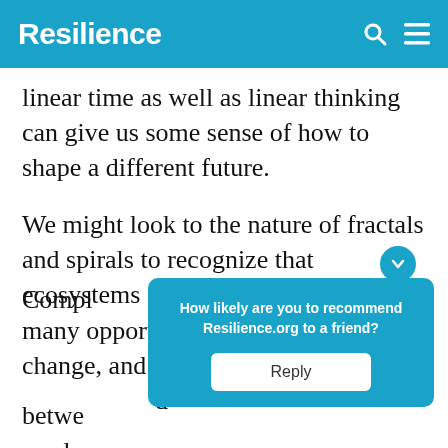Resilience
linear time as well as linear thinking can give us some sense of how to shape a different future.
We might look to the nature of fractals and spirals to recognize that ecosystems and human systems have many opportunities for growth, change, and reorganization. Compl[ex relationships] between [systems] produ[ce...]
[Figure (screenshot): Popup overlay asking 'How likely are you to recommend Resilience.org to a friend?' with a Reply button, in teal/blue color scheme]